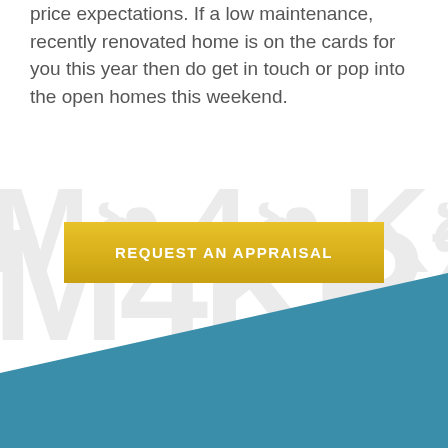price expectations. If a low maintenance, recently renovated home is on the cards for you this year then do get in touch or pop into the open homes this weekend.
[Figure (other): Large faint watermark text in light grey reading house price numbers or statistics in background]
REQUEST AN APPRAISAL
[Figure (other): Blue diagonal band / triangle shape at bottom of page]